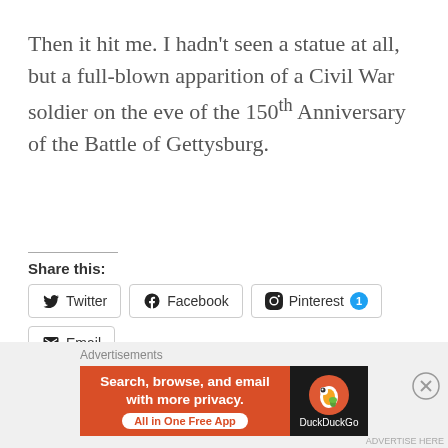Then it hit me. I hadn't seen a statue at all, but a full-blown apparition of a Civil War soldier on the eve of the 150th Anniversary of the Battle of Gettysburg.
Share this:
[Figure (screenshot): Social sharing buttons: Twitter, Facebook, Pinterest (with badge 1), Email, LinkedIn]
[Figure (screenshot): DuckDuckGo advertisement banner: Search, browse, and email with more privacy. All in One Free App.]